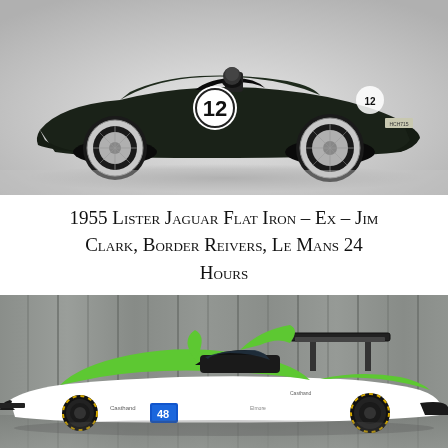[Figure (photo): 1955 Lister Jaguar Flat Iron racing car in dark green with the number 12 on a white roundel, photographed against a light grey studio background. Classic open-top sports racing car with wire wheels.]
1955 Lister Jaguar Flat Iron – Ex – Jim Clark, Border Reivers, Le Mans 24 Hours
[Figure (photo): Modern LMP prototype racing car in green and white livery with the number 48, photographed against a wooden plank grey wall background. Low-slung aerodynamic bodywork with large rear wing.]